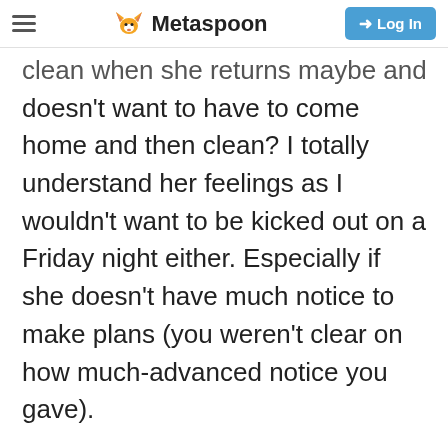Metaspoon | Log In
clean when she returns maybe and doesn't want to have to come home and then clean? I totally understand her feelings as I wouldn't want to be kicked out on a Friday night either. Especially if she doesn't have much notice to make plans (you weren't clear on how much-advanced notice you gave).
But maybe you can help her out. Gift her a spa treatment that night or